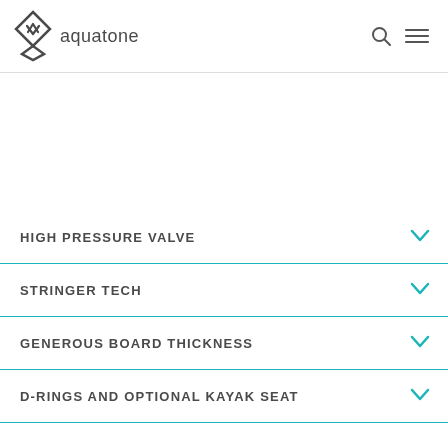aquatone
HIGH PRESSURE VALVE
STRINGER TECH
GENEROUS BOARD THICKNESS
D-RINGS AND OPTIONAL KAYAK SEAT